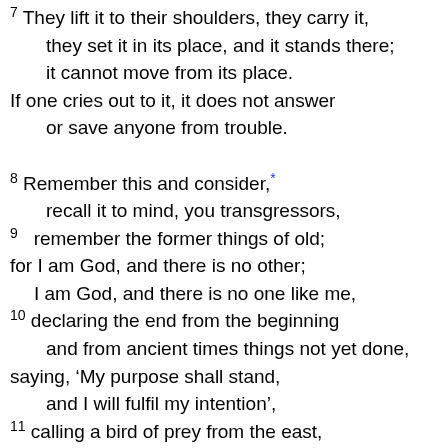7 They lift it to their shoulders, they carry it, they set it in its place, and it stands there; it cannot move from its place. If one cries out to it, it does not answer or save anyone from trouble.
8 Remember this and consider,* recall it to mind, you transgressors, 9 remember the former things of old; for I am God, and there is no other; I am God, and there is no one like me, 10 declaring the end from the beginning and from ancient times things not yet done, saying, 'My purpose shall stand, and I will fulfil my intention', 11 calling a bird of prey from the east, the man for my purpose from a far country. I have spoken, and I will bring it to pass;